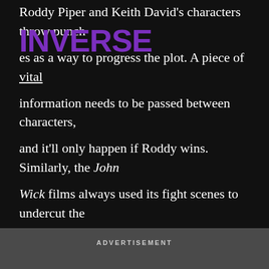[Figure (logo): Inverse logo in purple, overlaid on the article text]
Roddy Piper and Keith David's characters throw punches as a way to progress the plot. A piece of vital information needs to be passed between characters, and it'll only happen if Roddy wins. Similarly, the John Wick films always used its fight scenes to undercut the character's intent. It's gratuitous, but for good reason.
ADVERTISEMENT